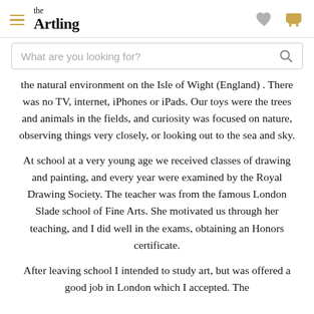the Artling
What are you looking for?
the natural environment on the Isle of Wight (England) . There was no TV, internet, iPhones or iPads. Our toys were the trees and animals in the fields, and curiosity was focused on nature, observing things very closely, or looking out to the sea and sky.
At school at a very young age we received classes of drawing and painting, and every year were examined by the Royal Drawing Society. The teacher was from the famous London Slade school of Fine Arts. She motivated us through her teaching, and I did well in the exams, obtaining an Honors certificate.
After leaving school I intended to study art, but was offered a good job in London which I accepted. The